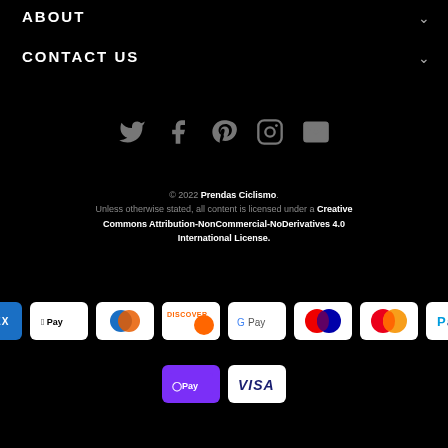ABOUT
CONTACT US
[Figure (infographic): Social media icons: Twitter, Facebook, Pinterest, Instagram, Email]
© 2022 Prendas Ciclismo. Unless otherwise stated, all content is licensed under a Creative Commons Attribution-NonCommercial-NoDerivatives 4.0 International License.
[Figure (infographic): Payment method badges: American Express, Apple Pay, Diners Club, Discover, Google Pay, Maestro, Mastercard, PayPal, O Pay, Visa]